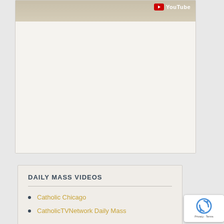[Figure (screenshot): Embedded YouTube video player thumbnail showing a church interior scene, mostly blank/loading state with YouTube logo in top right corner]
DAILY MASS VIDEOS
Catholic Chicago
CatholicTVNetwork Daily Mass
[Figure (other): Google reCAPTCHA badge with rotating arrows icon and Privacy - Terms text]